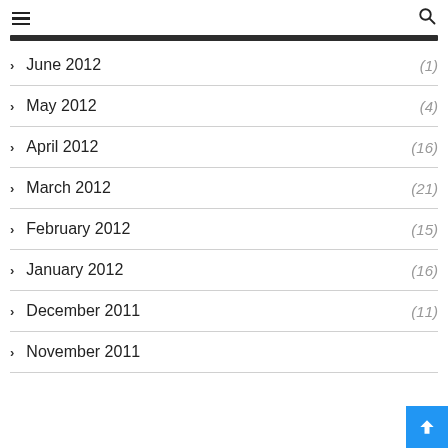≡ (menu) and search icon
> June 2012 (1)
> May 2012 (4)
> April 2012 (16)
> March 2012 (21)
> February 2012 (15)
> January 2012 (16)
> December 2011 (11)
> November 2011